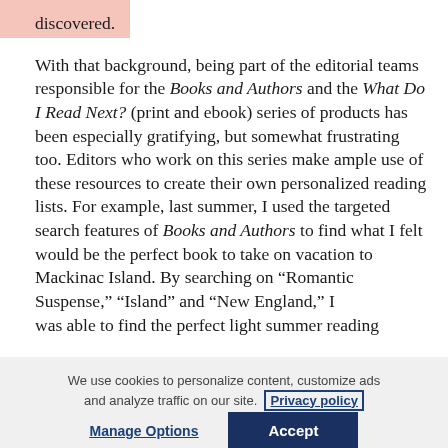introduce them to the wider world waiting to be discovered.
With that background, being part of the editorial teams responsible for the Books and Authors and the What Do I Read Next? (print and ebook) series of products has been especially gratifying, but somewhat frustrating too. Editors who work on this series make ample use of these resources to create their own personalized reading lists. For example, last summer, I used the targeted search features of Books and Authors to find what I felt would be the perfect book to take on vacation to Mackinac Island. By searching on “Romantic Suspense,” “Island” and “New England,” I was able to find the perfect light summer reading
We use cookies to personalize content, customize ads and analyze traffic on our site. Privacy policy
Manage Options
Accept